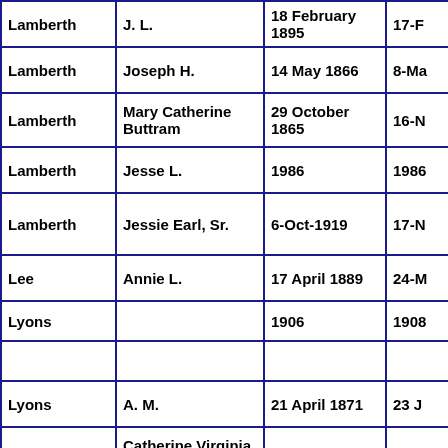| Last Name | First Name | Birth Date | Death Date (partial) |
| --- | --- | --- | --- |
| Lamberth | J. L. | 18 February 1895 | 17-F… |
| Lamberth | Joseph H. | 14 May 1866 | 8-Ma… |
| Lamberth | Mary Catherine Buttram | 29 October 1865 | 16-N… |
| Lamberth | Jesse L. | 1986 | 1986… |
| Lamberth | Jessie Earl, Sr. | 6-Oct-1919 | 17-N… |
| Lee | Annie L. | 17 April 1889 | 24-M… |
| Lyons |  | 1906 | 1908… |
|  |  |  |  |
| Lyons | A. M. | 21 April 1871 | 23 J… |
| Lyons | Catherine Virginia Atkinson | 9 Dec 1825 | 20 F… |
| Lyons | Charles W. | 16-Oct-1933 | 10-J… |
| Lyons | David Marion | 19-Jan-1928 | 3-Ja… |
| Lyons | Dora E. Felps | 9 Dec 1896 | 7-M… |